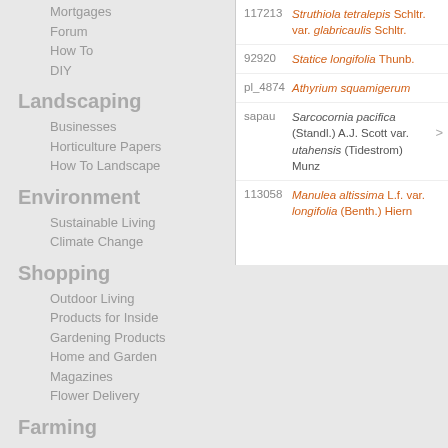Mortgages
Forum
How To
DIY
Landscaping
Businesses
Horticulture Papers
How To Landscape
Environment
Sustainable Living
Climate Change
Shopping
Outdoor Living
Products for Inside
Gardening Products
Home and Garden Magazines
Flower Delivery
Farming
| ID | Name |
| --- | --- |
| 117213 | Struthiola tetralepis Schltr. var. glabricaulis Schltr. |
| 92920 | Statice longifolia Thunb. |
| pl_4874 | Athyrium squamigerum |
| sapau | Sarcocornia pacifica (Standl.) A.J. Scott var. utahensis (Tidestrom) Munz |
| 113058 | Manulea altissima L.f. var. longifolia (Benth.) Hiern |